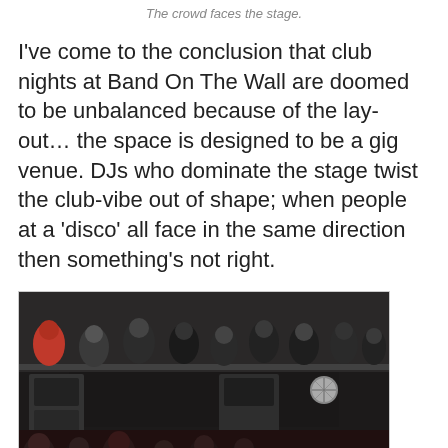The crowd faces the stage.
I've come to the conclusion that club nights at Band On The Wall are doomed to be unbalanced because of the lay-out… the space is designed to be a gig venue. DJs who dominate the stage twist the club-vibe out of shape; when people at a 'disco' all face in the same direction then something's not right.
[Figure (photo): Indoor photo of a crowd facing a stage at Band On The Wall venue, viewed from an elevated angle. People are visible in the foreground and a mezzanine level above, with stage equipment and a disco ball visible.]